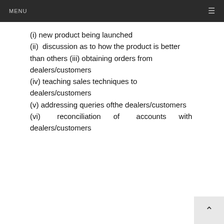MENU ≡
(i) new product being launched
(ii) discussion as to how the product is better than others (iii) obtaining orders from dealers/customers
(iv) teaching sales techniques to dealers/customers
(v) addressing queries ofthe dealers/customers
(vi) reconciliation of accounts with dealers/customers